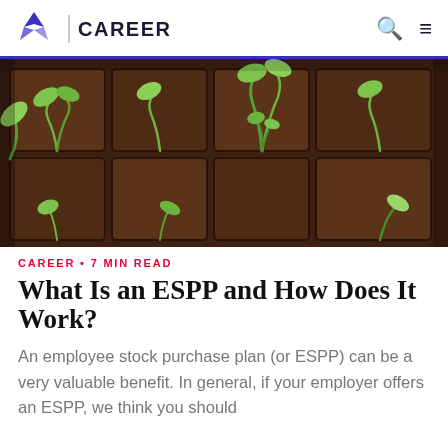CAREER
[Figure (photo): Close-up photo of small green seedlings sprouting from dark soil in a seed tray with grid compartments]
CAREER • 7 MIN READ
What Is an ESPP and How Does It Work?
An employee stock purchase plan (or ESPP) can be a very valuable benefit. In general, if your employer offers an ESPP, we think you should